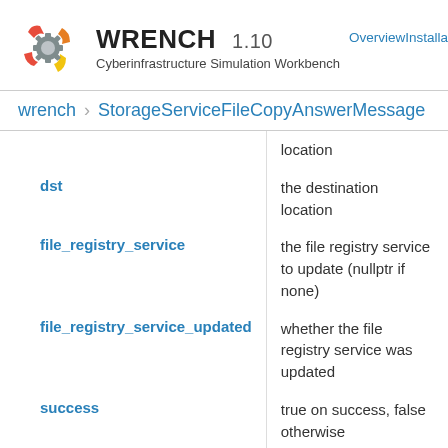WRENCH 1.10 Cyberinfrastructure Simulation Workbench
OverviewInstalla
wrench > StorageServiceFileCopyAnswerMessage
| Parameter | Description |
| --- | --- |
|  | location |
| dst | the destination location |
| file_registry_service | the file registry service to update (nullptr if none) |
| file_registry_service_updated | whether the file registry service was updated |
| success | true on success, false otherwise |